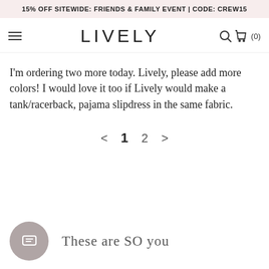15% OFF SITEWIDE: FRIENDS & FAMILY EVENT | CODE: CREW15
LIVELY
I'm ordering two more today. Lively, please add more colors! I would love it too if Lively would make a tank/racerback, pajama slipdress in the same fabric.
< 1 2 >
These are SO you